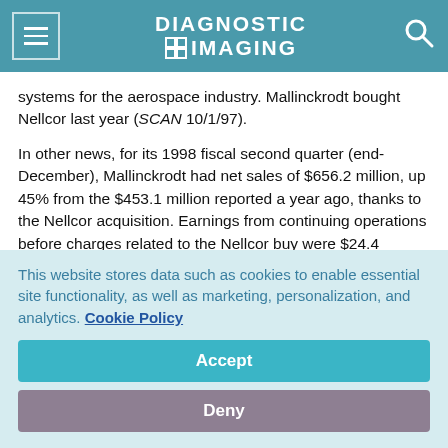DIAGNOSTIC IMAGING
systems for the aerospace industry. Mallinckrodt bought Nellcor last year (SCAN 10/1/97).
In other news, for its 1998 fiscal second quarter (end-December), Mallinckrodt had net sales of $656.2 million, up 45% from the $453.1 million reported a year ago, thanks to the Nellcor acquisition. Earnings from continuing operations before charges related to the Nellcor buy were $24.4 million. The company had posted earnings from continuing operations
This website stores data such as cookies to enable essential site functionality, as well as marketing, personalization, and analytics. Cookie Policy
Accept
Deny